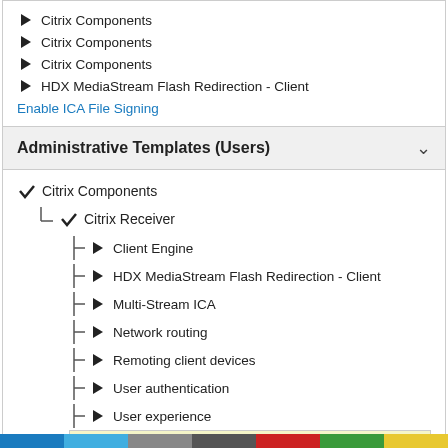▶ Citrix Components
▶ Citrix Components
▶ Citrix Components
▶ HDX MediaStream Flash Redirection - Client
Enable ICA File Signing
Administrative Templates (Users)
✔ Citrix Components
✔ Citrix Receiver
▶ Client Engine
▶ HDX MediaStream Flash Redirection - Client
▶ Multi-Stream ICA
▶ Network routing
▶ Remoting client devices
▶ User authentication
▶ User experience
Allow client connections